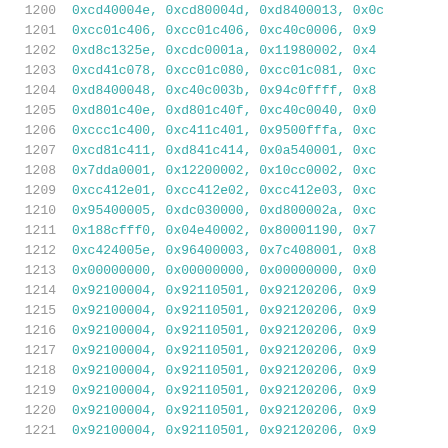| line | code |
| --- | --- |
| 1200 | 0xcd40004e, 0xcd80004d, 0xd8400013, 0x0... |
| 1201 | 0xcc01c406, 0xcc01c406, 0xc40c0006, 0x9... |
| 1202 | 0xd8c1325e, 0xcdc0001a, 0x11980002, 0x4... |
| 1203 | 0xcd41c078, 0xcc01c080, 0xcc01c081, 0xc... |
| 1204 | 0xd8400048, 0xc40c003b, 0x94c0ffff, 0x8... |
| 1205 | 0xd801c40e, 0xd801c40f, 0xc40c0040, 0x0... |
| 1206 | 0xccc1c400, 0xc411c401, 0x9500fffa, 0xc... |
| 1207 | 0xcd81c411, 0xd841c414, 0x0a540001, 0xc... |
| 1208 | 0x7dda0001, 0x12200002, 0x10cc0002, 0xc... |
| 1209 | 0xcc412e01, 0xcc412e02, 0xcc412e03, 0xc... |
| 1210 | 0x95400005, 0xdc030000, 0xd800002a, 0xc... |
| 1211 | 0x188cfff0, 0x04e40002, 0x80001190, 0x7... |
| 1212 | 0xc424005e, 0x96400003, 0x7c408001, 0x8... |
| 1213 | 0x00000000, 0x00000000, 0x00000000, 0x0... |
| 1214 | 0x92100004, 0x92110501, 0x92120206, 0x9... |
| 1215 | 0x92100004, 0x92110501, 0x92120206, 0x9... |
| 1216 | 0x92100004, 0x92110501, 0x92120206, 0x9... |
| 1217 | 0x92100004, 0x92110501, 0x92120206, 0x9... |
| 1218 | 0x92100004, 0x92110501, 0x92120206, 0x9... |
| 1219 | 0x92100004, 0x92110501, 0x92120206, 0x9... |
| 1220 | 0x92100004, 0x92110501, 0x92120206, 0x9... |
| 1221 | 0x92100004, 0x92110501, 0x92120206, 0x9... |